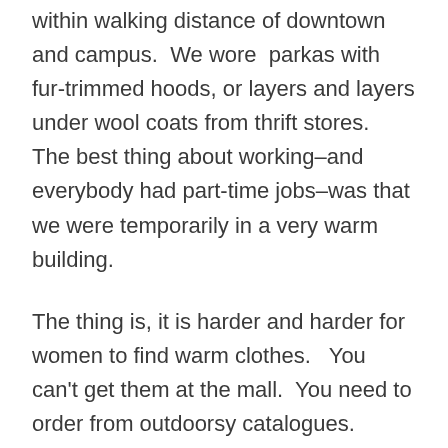within walking distance of downtown and campus.  We wore  parkas with fur-trimmed hoods, or layers and layers under wool coats from thrift stores.  The best thing about working–and everybody had part-time jobs–was that we were temporarily in a very warm building.
The thing is, it is harder and harder for women to find warm clothes.   You can't get them at the mall.  You need to order from outdoorsy catalogues.  Here's what I've noticed.  The jeans and corduroy pants from Lands End are thinner than they used to be, and no longer have pockets. When I walk out the door, my trunk is warm because of the parka, but I need long underwear under these thin girlish pants because my